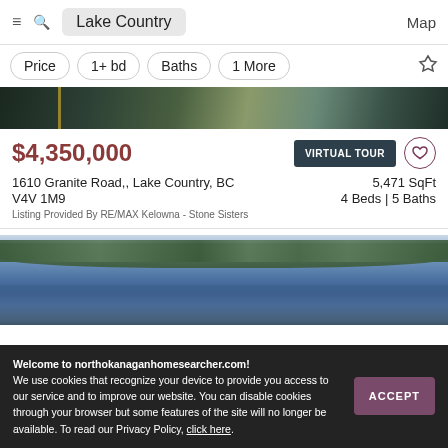Lake Country  Map
Price  1+ bd  Baths  1 More
[Figure (photo): Aerial property image strip showing dark rooftop and landscaping]
$4,350,000
VIRTUAL TOUR
1610 Granite Road,, Lake Country, BC
V4V 1M9
5,471 SqFt
4 Beds | 5 Baths
Listing Provided By RE/MAX Kelowna - Stone Sisters
[Figure (photo): Aerial lake view showing blue water, shoreline with trees and land, and cloudy sky]
Welcome to northokanaganhomesearcher.com!
We use cookies that recognize your device to provide you access to our service and to improve our website. You can disable cookies through your browser but some features of the site will no longer be available. To read our Privacy Policy, click here.
ACCEPT